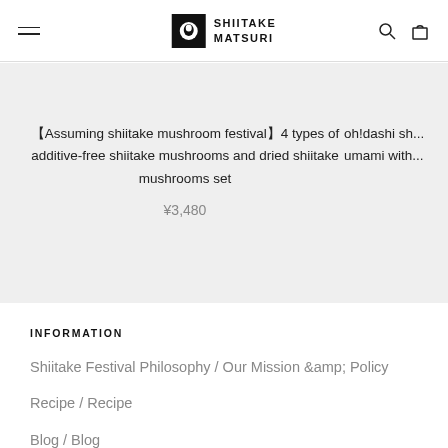SHIITAKE MATSURI
【Assuming shiitake mushroom festival】4 types of additive-free shiitake mushrooms and dried shiitake mushrooms set ¥3,480
oh!dashi sh... umami with...
INFORMATION
Shiitake Festival Philosophy / Our Mission &amp; Policy
Recipe / Recipe
Blog / Blog